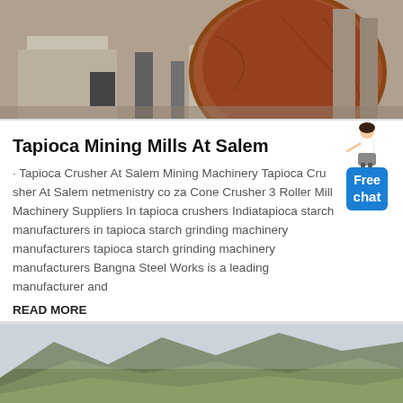[Figure (photo): Industrial mining machinery — large rusty spherical ball mill or grinding drum mounted on concrete/steel supports, photographed from below against an industrial backdrop.]
Tapioca Mining Mills At Salem
· Tapioca Crusher At Salem Mining Machinery Tapioca Crusher At Salem netmenistry co za Cone Crusher 3 Roller Mill Machinery Suppliers In tapioca crushers Indiatapioca starch manufacturers in tapioca starch grinding machinery manufacturers tapioca starch grinding machinery manufacturers Bangna Steel Works is a leading manufacturer and
READ MORE
[Figure (photo): Landscape photograph of green forested hills or mountains, taken from a distance, with hazy sky in the background.]